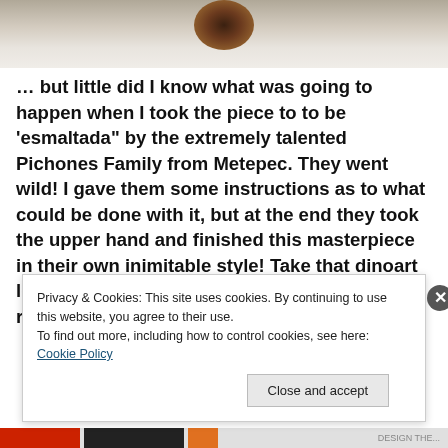[Figure (photo): Partial photo showing what appears to be a ceramic or clay piece, light-colored surface with a dark area at top center, cropped at the bottom of the image strip]
… but little did I know what was going to happen when I took the piece to to be 'esmaltada" by the extremely talented Pichones Family from Metepec. They went wild! I gave them some instructions as to what could be done with it, but at the end they took the upper hand and finished this masterpiece in their own inimitable style! Take that dinoart lovers… here's an almost Picasso like rendering of Spinosaurus!
Privacy & Cookies: This site uses cookies. By continuing to use this website, you agree to their use.
To find out more, including how to control cookies, see here: Cookie Policy
Close and accept